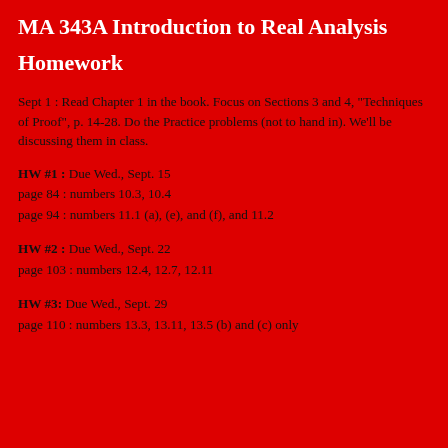MA 343A Introduction to Real Analysis
Homework
Sept 1 : Read Chapter 1 in the book. Focus on Sections 3 and 4, "Techniques of Proof", p. 14-28. Do the Practice problems (not to hand in). We'll be discussing them in class.
HW #1 : Due Wed., Sept. 15
page 84 : numbers 10.3, 10.4
page 94 : numbers 11.1 (a), (e), and (f), and 11.2
HW #2 : Due Wed., Sept. 22
page 103 : numbers 12.4, 12.7, 12.11
HW #3: Due Wed., Sept. 29
page 110 : numbers 13.3, 13.11, 13.5 (b) and (c) only